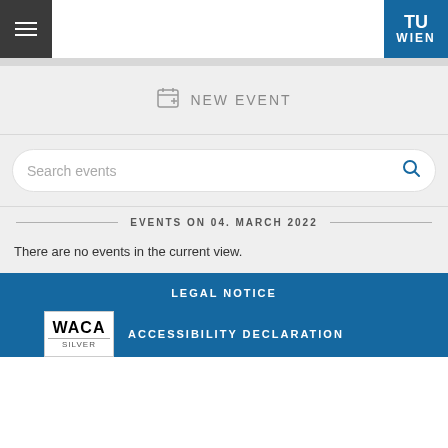TU Wien
NEW EVENT
Search events
EVENTS ON 04. MARCH 2022
There are no events in the current view.
LEGAL NOTICE
[Figure (logo): WACA Silver accessibility badge logo]
ACCESSIBILITY DECLARATION